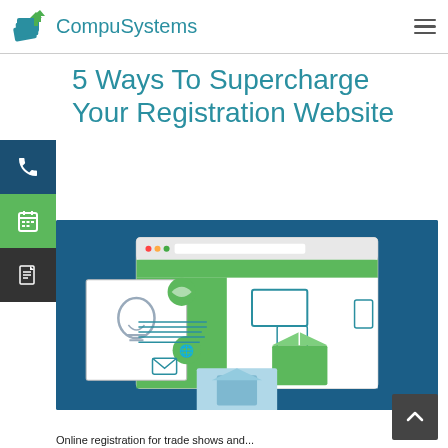CompuSystems
5 Ways To Supercharge Your Registration Website
[Figure (screenshot): Illustration of a registration website with browser window showing icons for lightbulb, globe, box, email, and devices (monitor/tablet/phone) on a teal/green background]
Online registration for trade shows and...